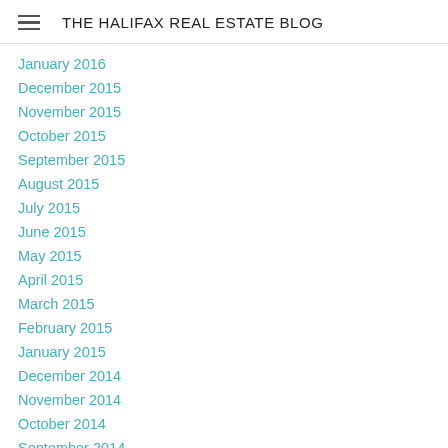THE HALIFAX REAL ESTATE BLOG
January 2016
December 2015
November 2015
October 2015
September 2015
August 2015
July 2015
June 2015
May 2015
April 2015
March 2015
February 2015
January 2015
December 2014
November 2014
October 2014
September 2014
August 2014